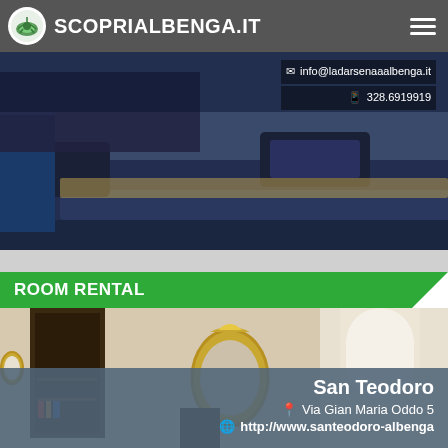SCOPRIALBENGA.IT
[Figure (photo): Bedroom photo with blue bedding and pillow. Contact overlay shows: info@ladarsenaaalbenga.it and 328.6919919]
info@ladarsenaaalbenga.it
328.6919919
ROOM RENTAL
[Figure (photo): Elegant room interior with ornate mirror, wooden furniture, bookshelves, and arched doorway.]
San Teodoro
Via Gian Maria Oddo 5
http://www.santeodoro-albenga